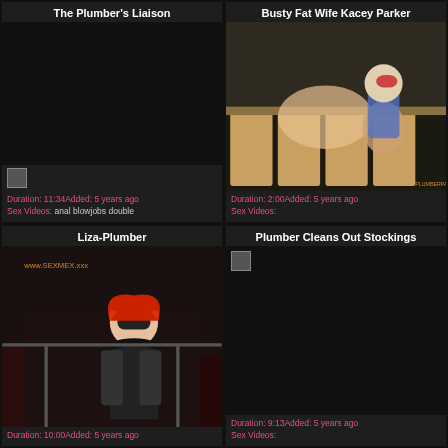The Plumber's Liaison
Duration: 11:34Added: 5 years ago
Sex Videos: anal blowjobs double
Busty Fat Wife Kacey Parker
[Figure (photo): Thumbnail of Busty Fat Wife Kacey Parker video]
Duration: 2:00Added: 5 years ago
Sex Videos:
Liza-Plumber
[Figure (photo): Thumbnail of Liza-Plumber video showing woman with red hair in dark clothing]
Duration: 10:00Added: 5 years ago
Plumber Cleans Out Stockings
Duration: 9:13Added: 5 years ago
Sex Videos: